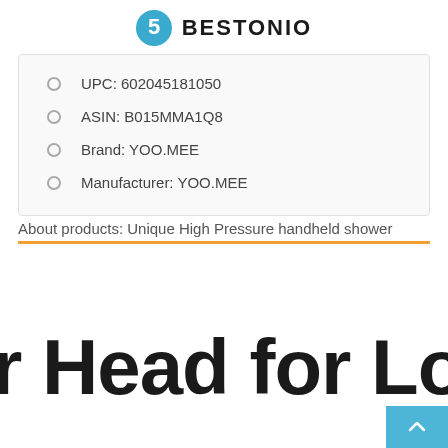BESTONIO
UPC: 602045181050
ASIN: B015MMA1Q8
Brand: YOO.MEE
Manufacturer: YOO.MEE
About products: Unique High Pressure handheld shower
r Head for Low Wa